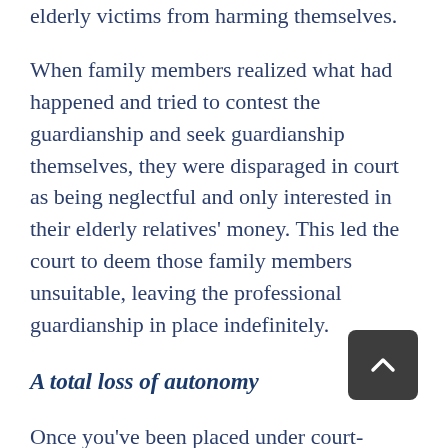elderly victims from harming themselves.
When family members realized what had happened and tried to contest the guardianship and seek guardianship themselves, they were disparaged in court as being neglectful and only interested in their elderly relatives' money. This led the court to deem those family members unsuitable, leaving the professional guardianship in place indefinitely.
A total loss of autonomy
Once you've been placed under court-ordered guardianship, you essentially lose many of your civil rights. Indeed, whether it's a family member